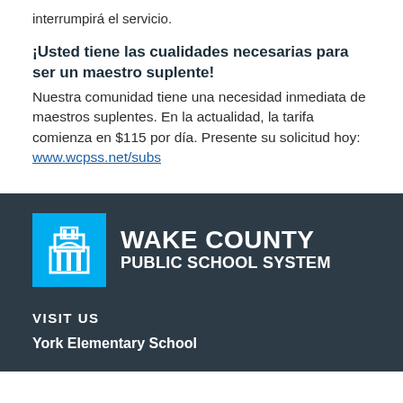interrumpirá el servicio.
¡Usted tiene las cualidades necesarias para ser un maestro suplente! Nuestra comunidad tiene una necesidad inmediata de maestros suplentes. En la actualidad, la tarifa comienza en $115 por día. Presente su solicitud hoy: www.wcpss.net/subs
[Figure (logo): Wake County Public School System logo: blue square with white building icon, white text WAKE COUNTY PUBLIC SCHOOL SYSTEM on dark background]
VISIT US
York Elementary School